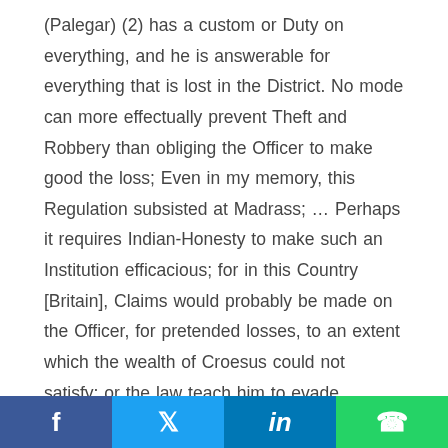(Palegar) (2) has a custom or Duty on everything, and he is answerable for everything that is lost in the District. No mode can more effectually prevent Theft and Robbery than obliging the Officer to make good the loss; Even in my memory, this Regulation subsisted at Madrass; … Perhaps it requires Indian-Honesty to make such an Institution efficacious; for in this Country [Britain], Claims would probably be made on the Officer, for pretended losses, to an extent which the wealth of Croesus could not satisfy; or the law teach him to evade payment of actual losses till the day of Judgement".(3)
Facebook | Twitter | LinkedIn | WhatsApp